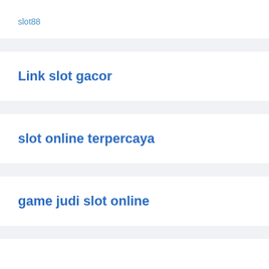slot88
Link slot gacor
slot online terpercaya
game judi slot online